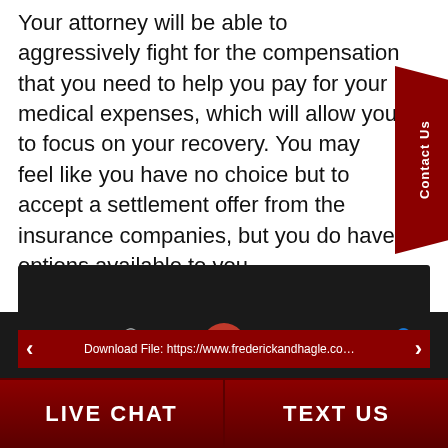Your attorney will be able to aggressively fight for the compensation that you need to help you pay for your medical expenses, which will allow you to focus on your recovery. You may feel like you have no choice but to accept a settlement offer from the insurance companies, but you do have options available to you.
[Figure (screenshot): Dark video/media player area with navigation arrows and a URL bar showing 'Download File: https://www.frederickandhagle.com/wp-']
Menu | Search | [Phone] | Contact | Attorneys
LIVE CHAT | TEXT US